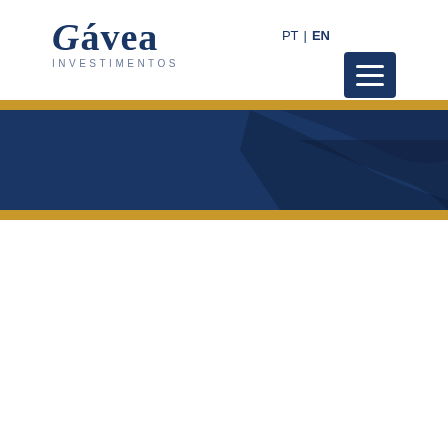[Figure (logo): Gávea Investimentos logo with stylized serif text and INVESTIMENTOS subtitle]
PT | EN
[Figure (other): Navigation hamburger menu button (three horizontal lines) on dark navy blue background]
[Figure (photo): Dark navy blue hero banner with gold/amber horizontal stripes above and below, featuring a subtle darker wave or geographic shape on the right side]